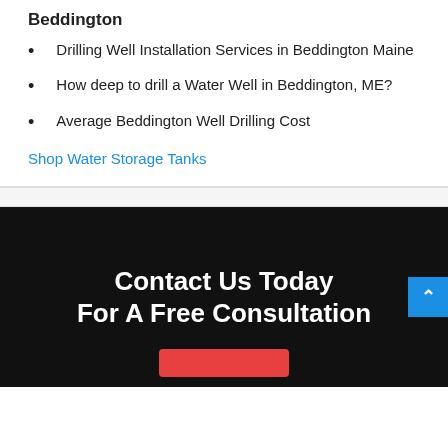Beddington
Drilling Well Installation Services in Beddington Maine
How deep to drill a Water Well in Beddington, ME?
Average Beddington Well Drilling Cost
Shop Water Storage Tanks
Contact Us Today For A Free Consultation